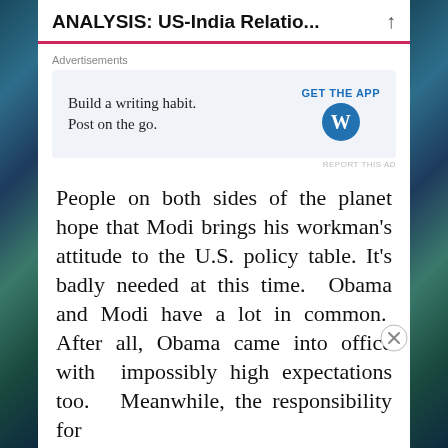ANALYSIS: US-India Relatio...
Advertisements
[Figure (screenshot): WordPress advertisement: 'Build a writing habit. Post on the go.' with GET THE APP button and WordPress logo]
People on both sides of the planet hope that Modi brings his workman's attitude to the U.S. policy table. It's badly needed at this time. Obama and Modi have a lot in common. After all, Obama came into office with impossibly high expectations too. Meanwhile, the responsibility for
Advertisements
[Figure (screenshot): DuckDuckGo advertisement: 'Search, browse, and email with more privacy. All in One Free App']